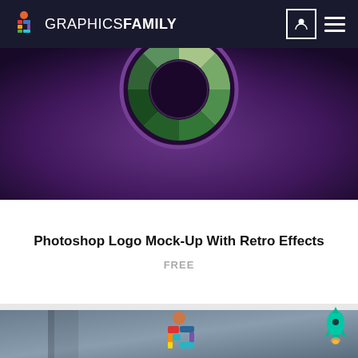GRAPHICS FAMILY
[Figure (photo): Purple dark background with retro circular logo mockup showing a colorful wheel/palette design in a glowing neon style]
Photoshop Logo Mock-Up With Retro Effects
FREE
[Figure (photo): Blue-gray wall with 3D GraphicsFamily logo mounted on it — colorful human figure / G letter mark in rainbow colors with orange, red, teal, purple segments]